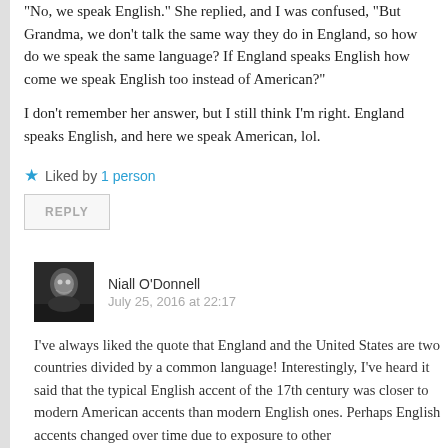“No, we speak English.” She replied, and I was confused, “But Grandma, we don’t talk the same way they do in England, so how do we speak the same language? If England speaks English how come we speak English too instead of American?”
I don’t remember her answer, but I still think I’m right. England speaks English, and here we speak American, lol.
★ Liked by 1 person
REPLY
Niall O'Donnell
July 25, 2016 at 22:17
[Figure (photo): Small square avatar photo of Niall O'Donnell, black and white image showing a person/animal]
I’ve always liked the quote that England and the United States are two countries divided by a common language! Interestingly, I’ve heard it said that the typical English accent of the 17th century was closer to modern American accents than modern English ones. Perhaps English accents changed over time due to exposure to other